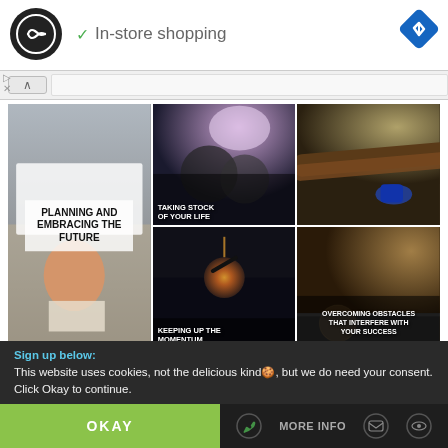[Figure (screenshot): App logo circle with infinity-style arrows icon, followed by checkmark and 'In-store shopping' text, and a blue navigation diamond icon on the right]
[Figure (infographic): 6-panel image grid with motivational topics: Taking Stock of Your Life, Planning and Embracing the Future, Keeping Up the Momentum, Overcoming Obstacles That Interfere With Your Success]
Sign up below:
This website uses cookies, not the delicious kind, but we do need your consent. Click Okay to continue.
OKAY
MORE INFO